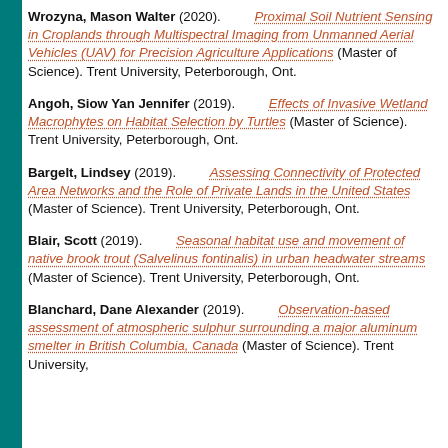Wrozyna, Mason Walter (2020). Proximal Soil Nutrient Sensing in Croplands through Multispectral Imaging from Unmanned Aerial Vehicles (UAV) for Precision Agriculture Applications (Master of Science). Trent University, Peterborough, Ont.
Angoh, Siow Yan Jennifer (2019). Effects of Invasive Wetland Macrophytes on Habitat Selection by Turtles (Master of Science). Trent University, Peterborough, Ont.
Bargelt, Lindsey (2019). Assessing Connectivity of Protected Area Networks and the Role of Private Lands in the United States (Master of Science). Trent University, Peterborough, Ont.
Blair, Scott (2019). Seasonal habitat use and movement of native brook trout (Salvelinus fontinalis) in urban headwater streams (Master of Science). Trent University, Peterborough, Ont.
Blanchard, Dane Alexander (2019). Observation-based assessment of atmospheric sulphur surrounding a major aluminum smelter in British Columbia, Canada (Master of Science). Trent University,